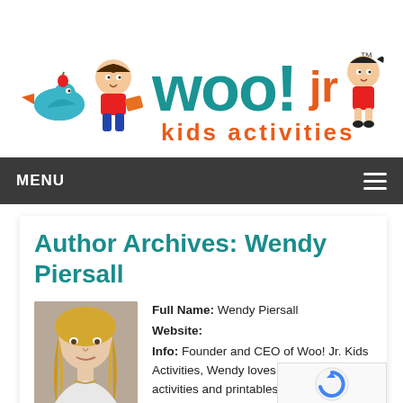[Figure (logo): Woo! Jr. Kids Activities logo with illustrated children and a bird, colorful teal and orange text]
MENU
Author Archives: Wendy Piersall
[Figure (photo): Photo of Wendy Piersall, a woman with blonde hair]
Full Name: Wendy Piersall
Website:
Info: Founder and CEO of Woo! Jr. Kids Activities, Wendy loves creating crafts, activities and printables that